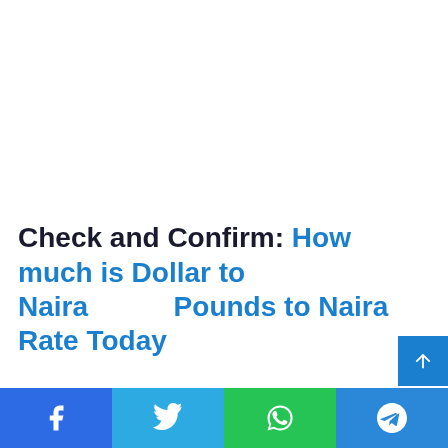Check and Confirm: How much is Dollar to Naira    Pounds to Naira Rate Today
[Figure (infographic): Social share bar with Facebook, Twitter, WhatsApp, and Telegram icons at the bottom of the page]